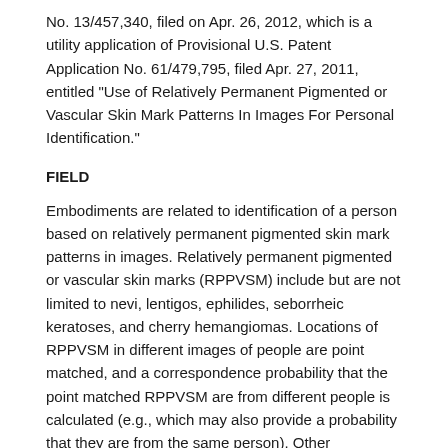No. 13/457,340, filed on Apr. 26, 2012, which is a utility application of Provisional U.S. Patent Application No. 61/479,795, filed Apr. 27, 2011, entitled "Use of Relatively Permanent Pigmented or Vascular Skin Mark Patterns In Images For Personal Identification."
FIELD
Embodiments are related to identification of a person based on relatively permanent pigmented skin mark patterns in images. Relatively permanent pigmented or vascular skin marks (RPPVSM) include but are not limited to nevi, lentigos, ephilides, seborrheic keratoses, and cherry hemangiomas. Locations of RPPVSM in different images of people are point matched, and a correspondence probability that the point matched RPPVSM are from different people is calculated (e.g., which may also provide a probability that they are from the same person). Other embodiments are also described.
BACKGROUND
Recent technological advances have allowed for a proliferation of digital media, which may include images of